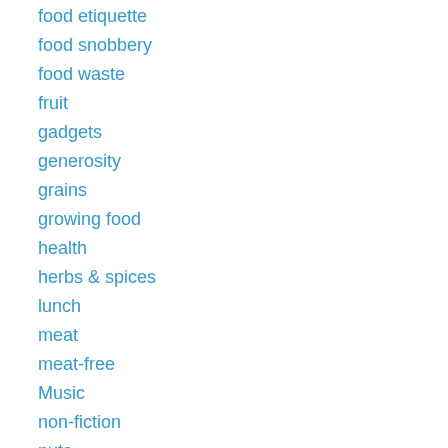food etiquette
food snobbery
food waste
fruit
gadgets
generosity
grains
growing food
health
herbs & spices
lunch
meat
meat-free
Music
non-fiction
nuts
pasta
pastry & baking
people & cooking
poetry